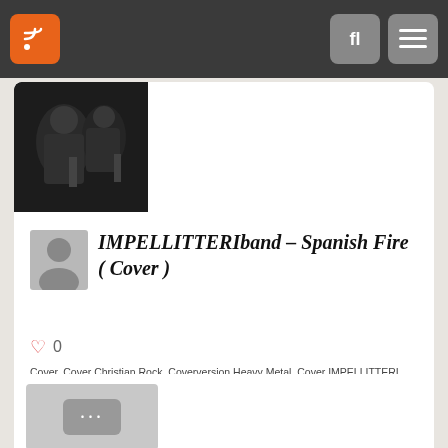Navigation bar with RSS feed button, search button, and menu button
[Figure (photo): Thumbnail image of musicians performing, dark background]
[Figure (photo): User avatar placeholder, grey silhouette icon]
IMPELLITTERIband – Spanish Fire ( Cover )
Cover, Cover Christian Rock, Coverversion Heavy Metal, Cover IMPELLITTERI, Coverversion Spanish Fire, Crunch, GreatIMPELLITTERI - The Best Of,
0
[Figure (screenshot): Second card thumbnail with ellipsis/more icon on grey background]